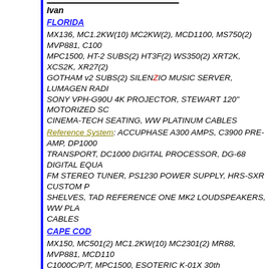Ivan
FLORIDA
MX136, MC1.2KW(10) MC2KW(2), MCD1100, MS750(2) MVP881, C1000 MPC1500, HT-2 SUBS(2) HT3F(2) WS350(2) XRT2K, XCS2K, XR27(2) GOTHAM v2 SUBS(2) SILENZIO MUSIC SERVER, LUMAGEN RADIA SONY VPH-G90U 4K PROJECTOR, STEWART 120" MOTORIZED SC CINEMA-TECH SEATING, WW PLATINUM CABLES
Reference System: ACCUPHASE A300 AMPS, C3900 PRE-AMP, DP1000 TRANSPORT, DC1000 DIGITAL PROCESSOR, DG-68 DIGITAL EQUA FM STEREO TUNER, PS1230 POWER SUPPLY, HRS-SXR CUSTOM SHELVES, TAD REFERENCE ONE MK2 LOUDSPEAKERS, WW PLA CABLES
CAPE COD
MX150, MC501(2) MC1.2KW(10) MC2301(2) MR88, MVP881, MCD1100 C1000C/P/T, MPC1500, ESOTERIC K-01X 30th ANNIVERSARY (BLA PLAYER, G02-X CLOCK, HT3F(2) XRT2K, XCS2K, XR27(2) JL GOTHA JL FATHOM F113v2 SUBS(4) SOUND ANCHOR STANDS(2) KALEIDE STRATO & TERRA SERVERS 80-TB, LUMAGEN RADIANCE SCALE G90U 4K PROJECTOR, STEWART 120" SCREEN, SONUS FABER ST SILENZIO MUSIC SERVER, FORTRESS SEATING, WW PLATINUM
Analog Rig: CLEARAUDIO INNOVATION WOOD, UNIVERSAL ARM CART, 2nd UNIVERSAL ARM w/ GOLDFINGER STATEMENT CART, REFERENCE RACK-GLOSS BLACK w/ M3X SHELVES, AESTHETIX PHONO-PRE, BRYSTON BHA-1 HEADPHONE AMP, WW PLATINUM
Reference System: BURMESTER 911MK3 AMP(3), 088 PRE-AMP, 089 100 PHONO PRE-AMP, 948 POWER CONDITIONER, ACCUPHASE D EQUALIZER, AVID ACUTUS REFERENCE SP TT, GRAHAM PHANT